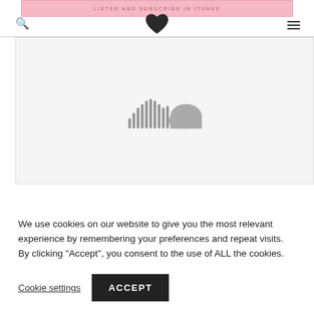LISTEN AND SUBSCRIBE IN ITUNES
[Figure (logo): Dark heart-shaped logo icon in header navigation]
[Figure (other): Embedded SoundCloud player placeholder showing SoundCloud logo in gray on light gray background]
We use cookies on our website to give you the most relevant experience by remembering your preferences and repeat visits. By clicking “Accept”, you consent to the use of ALL the cookies.
Cookie settings   ACCEPT